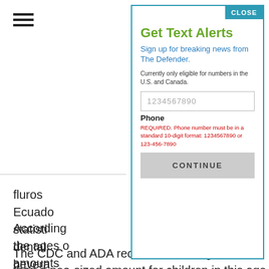[Figure (other): Hamburger menu icon (three horizontal lines) in top left of page]
fluros... Ecuado... statisti... dental... bevera...
According... the ages o...
amounts
The CDC and ADA recommend using no more than a pea-sized amount for children in this age
Get Text Alerts
Sign up for breaking news from The Defender.
Currently only eligible for numbers in the U.S. and Canada.
1234567890
Phone
REQUIRED. Phone number must be in a standard 10-digit format: 1234567890 or 123-456-7890
CONTINUE
CLOSE